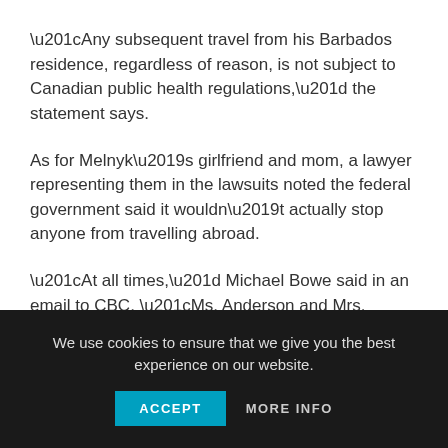“Any subsequent travel from his Barbados residence, regardless of reason, is not subject to Canadian public health regulations,” the statement says.
As for Melnyk’s girlfriend and mom, a lawyer representing them in the lawsuits noted the federal government said it wouldn’t actually stop anyone from travelling abroad.
“At all times,” Michael Bowe said in an email to CBC, “Ms. Anderson and Mrs. Melnyk complied fully with all public health protocols in Canada and abroad.”
We use cookies to ensure that we give you the best experience on our website.